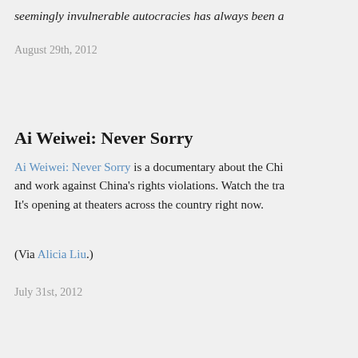seemingly invulnerable autocracies has always been a
August 29th, 2012
Ai Weiwei: Never Sorry
Ai Weiwei: Never Sorry is a documentary about the Chi... and work against China's rights violations. Watch the tra... It's opening at theaters across the country right now.
(Via Alicia Liu.)
July 31st, 2012